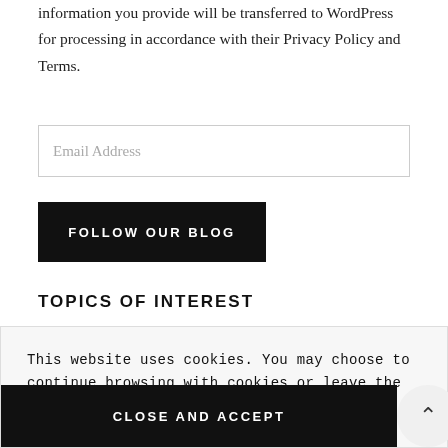information you provide will be transferred to WordPress for processing in accordance with their Privacy Policy and Terms.
Email Address
FOLLOW OUR BLOG
TOPICS OF INTEREST
This website uses cookies. You may choose to continue browsing with cookies or leave the site.
Health Advances Privacy Policy
CLOSE AND ACCEPT